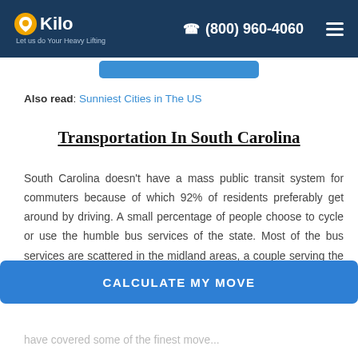Kilo | Let us do Your Heavy Lifting | (800) 960-4060
Also read: Sunniest Cities in The US
Transportation In South Carolina
South Carolina doesn’t have a mass public transit system for commuters because of which 92% of residents preferably get around by driving. A small percentage of people choose to cycle or use the humble bus services of the state. Most of the bus services are scattered in the midland areas, a couple serving the coastal side and ‘Pee-Dee’ regions. However, since things are spread out, it is much more convenient to
CALCULATE MY MOVE
have covered some of the finest move...